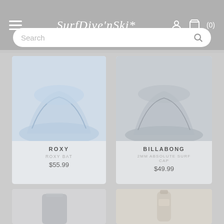SurfDive'nSki* navigation header with hamburger menu, logo, user icon, and cart (0)
Search
ROXY
ROXY BAT
$55.99
BILLABONG
2MM ABSOLUTE SURF CAP
$49.99
[Figure (photo): Blue hat product image - ROXY BAT]
[Figure (photo): Grey surf cap product image - BILLABONG 2MM ABSOLUTE SURF CAP]
[Figure (photo): Grey wetsuit/neoprene item product image]
[Figure (photo): Sunscreen/bottle product image with label]